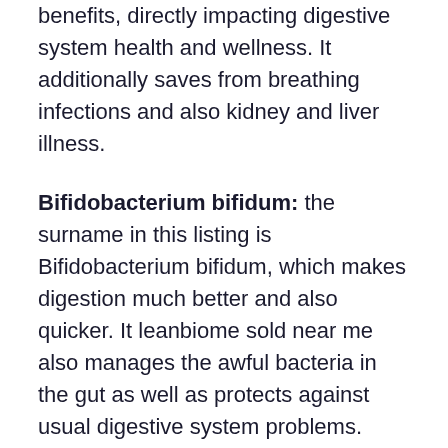benefits, directly impacting digestive system health and wellness. It additionally saves from breathing infections and also kidney and liver illness.
Bifidobacterium bifidum: the surname in this listing is Bifidobacterium bifidum, which makes digestion much better and also quicker. It leanbiome sold near me also manages the awful bacteria in the gut as well as protects against usual digestive system problems.
Inulin: This active ingredient is prebiotic, which regulates bowel movements as well as aids in food digestion. Without inulin, troubles such as flatulence, irregularity, and level of acidity might turn up, making food digestion unpleasant. Along